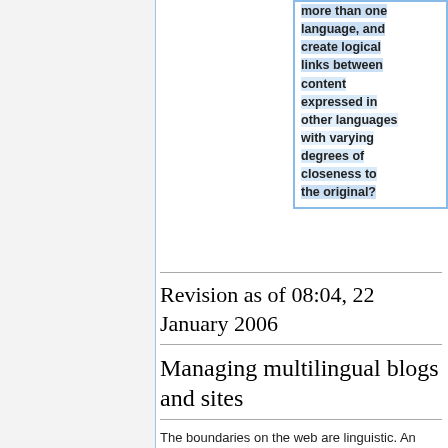more than one language, and create logical links between content expressed in other languages with varying degrees of closeness to the original?
Revision as of 08:04, 22 January 2006
Managing multilingual blogs and sites
The boundaries on the web are linguistic. An increasing number of people have multilingual websites and